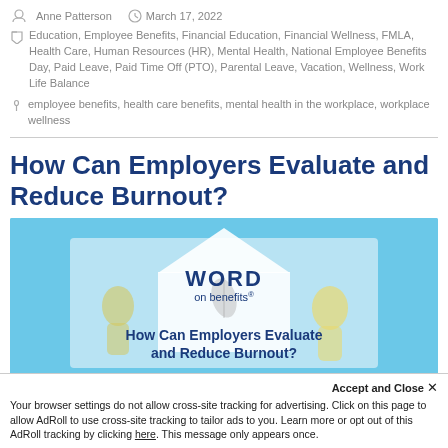Anne Patterson   March 17, 2022
Education, Employee Benefits, Financial Education, Financial Wellness, FMLA, Health Care, Human Resources (HR), Mental Health, National Employee Benefits Day, Paid Leave, Paid Time Off (PTO), Parental Leave, Vacation, Wellness, Work Life Balance
employee benefits, health care benefits, mental health in the workplace, workplace wellness
How Can Employers Evaluate and Reduce Burnout?
[Figure (illustration): Blog post thumbnail image with blue background showing 'WORD on benefits®' logo and text 'How Can Employers Evaluate and Reduce Burnout?' in dark blue font, with illustrated figures in background.]
Accept and Close ✕
Your browser settings do not allow cross-site tracking for advertising. Click on this page to allow AdRoll to use cross-site tracking to tailor ads to you. Learn more or opt out of this AdRoll tracking by clicking here. This message only appears once.